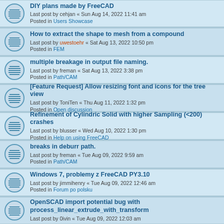DIY plans made by FreeCAD
Last post by cehjan « Sun Aug 14, 2022 11:41 am
Posted in Users Showcase
How to extract the shape to mesh from a compound
Last post by uwestoehr « Sat Aug 13, 2022 10:50 pm
Posted in FEM
multiple breakage in output file naming.
Last post by freman « Sat Aug 13, 2022 3:38 pm
Posted in Path/CAM
[Feature Request] Allow resizing font and icons for the tree view
Last post by ToniTen « Thu Aug 11, 2022 1:32 pm
Posted in Open discussion
Refinement of Cylindric Solid with higher Sampling (<200) crashes
Last post by blusser « Wed Aug 10, 2022 1:30 pm
Posted in Help on using FreeCAD
breaks in deburr path.
Last post by freman « Tue Aug 09, 2022 9:59 am
Posted in Path/CAM
Windows 7, problemy z FreeCAD PY3.10
Last post by jimmihenry « Tue Aug 09, 2022 12:46 am
Posted in Forum po polsku
OpenSCAD import potential bug with process_linear_extrude_with_transform
Last post by 0ivin « Tue Aug 09, 2022 12:03 am